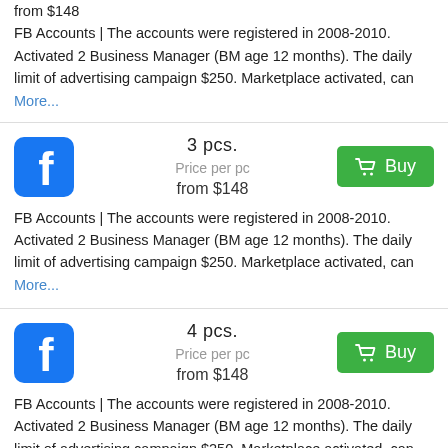from $148
FB Accounts | The accounts were registered in 2008-2010. Activated 2 Business Manager (BM age 12 months). The daily limit of advertising campaign $250. Marketplace activated, can  More...
3 pcs.
Price per pc
from $148
FB Accounts | The accounts were registered in 2008-2010. Activated 2 Business Manager (BM age 12 months). The daily limit of advertising campaign $250. Marketplace activated, can  More...
4 pcs.
Price per pc
from $148
FB Accounts | The accounts were registered in 2008-2010. Activated 2 Business Manager (BM age 12 months). The daily limit of advertising campaign $250. Marketplace activated, can  More...
4 pcs.
Price per pc
from $148
FB Accounts | The accounts were registered in 2008-2010. Activated 2 Business Manager (BM age 12 months). The daily limit